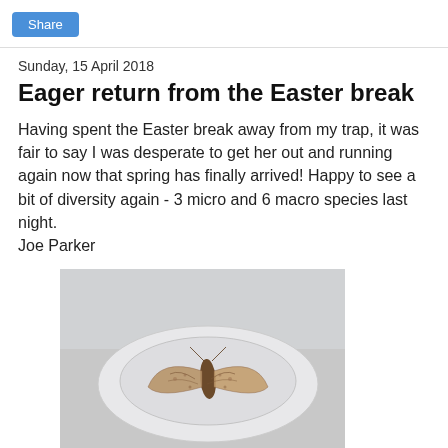Share
Sunday, 15 April 2018
Eager return from the Easter break
Having spent the Easter break away from my trap, it was fair to say I was desperate to get her out and running again now that spring has finally arrived! Happy to see a bit of diversity again - 3 micro and 6 macro species last night.
Joe Parker
[Figure (photo): A moth resting on a white oval dish or egg cup, photographed from above against a white surface background.]